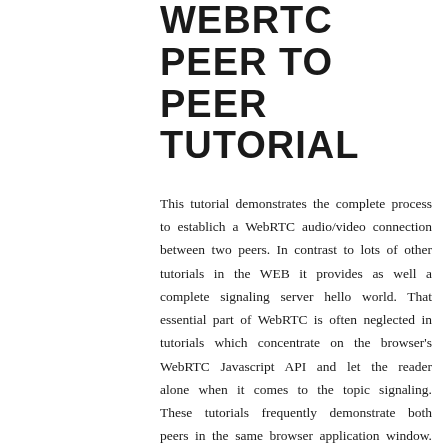WEBRTC PEER TO PEER TUTORIAL
This tutorial demonstrates the complete process to establich a WebRTC audio/video connection between two peers. In contrast to lots of other tutorials in the WEB it provides as well a complete signaling server hello world. That essential part of WebRTC is often neglected in tutorials which concentrate on the browser's WebRTC Javascript API and let the reader alone when it comes to the topic signaling. These tutorials frequently demonstrate both peers in the same browser application window. That approach leads to confusion about the data flows and the sequences in which the WebRTC callback handlers are called. This tutorial concentrates on the essential issues only and omits everything which distracts from the basic working principles.